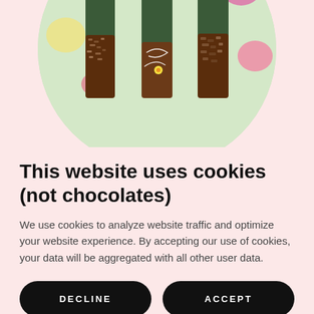[Figure (photo): Circular photo showing chocolate-dipped wine bottles decorated with nuts and white chocolate drizzle, with a floral background]
This website uses cookies (not chocolates)
We use cookies to analyze website traffic and optimize your website experience. By accepting our use of cookies, your data will be aggregated with all other user data.